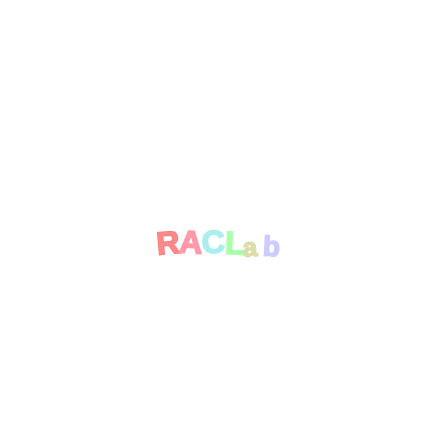[Figure (logo): Hand-drawn style colorful logo reading 'RACLab' with each letter in a different pastel rainbow color (pink R, orange-pink A, light blue C, green L, yellow-green a, purple b) on a white background.]